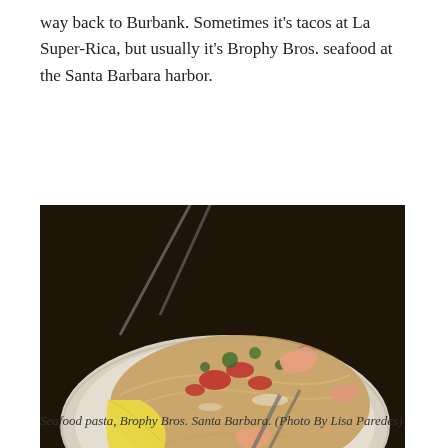way back to Burbank. Sometimes it's tacos at La Super-Rica, but usually it's Brophy Bros. seafood at the Santa Barbara harbor.
[Figure (photo): A plate of seafood pasta with shrimp, tomatoes, parsley, and grated cheese, with a lemon wedge on the side, served at Brophy Bros. Santa Barbara. A myBurbank.com watermark appears in the bottom left corner.]
Seafood pasta, Brophy Bros. Santa Barbara. (Photo By Lisa Paredes)